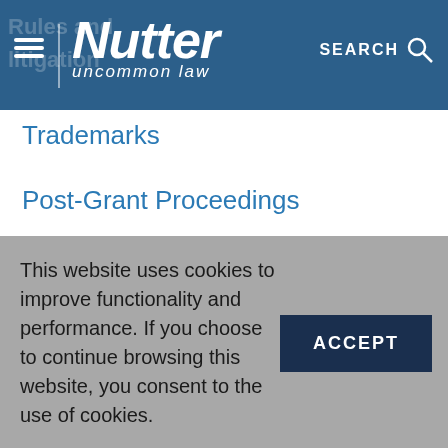[Figure (logo): Nutter law firm logo with hamburger menu, 'Nutter' in white italic bold text, tagline 'uncommon law' in white italic, and SEARCH icon on the right, all on a dark blue background]
Trademarks
Post-Grant Proceedings
View More ›
CONTRIBUTORS
Kenneth R. Berman
This website uses cookies to improve functionality and performance. If you choose to continue browsing this website, you consent to the use of cookies.